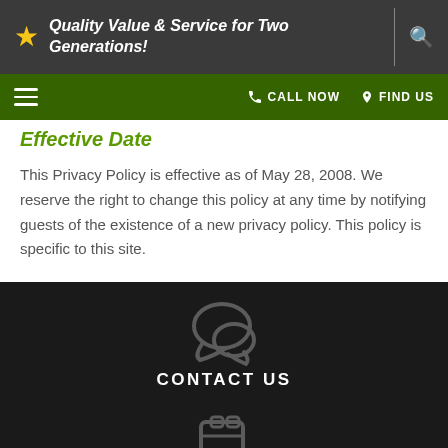Quality Value & Service for Two Generations!
Effective Date
This Privacy Policy is effective as of May 28, 2008. We reserve the right to change this policy at any time by notifying guests of the existence of a new privacy policy. This policy is specific to this site.
[Figure (illustration): Chat bubble icon with CONTACT US label on dark background]
[Figure (illustration): Clipboard icon with SCHEDULE YOUR FREE MEASURE label on dark background]